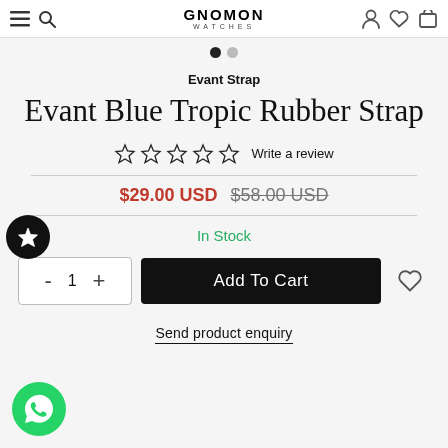GNOMON WATCHES
Evant Blue Tropic Rubber Strap
Evant Strap
☆☆☆☆☆ Write a review
$29.00 USD $58.00 USD
In Stock
- 1 + Add To Cart
Send product enquiry